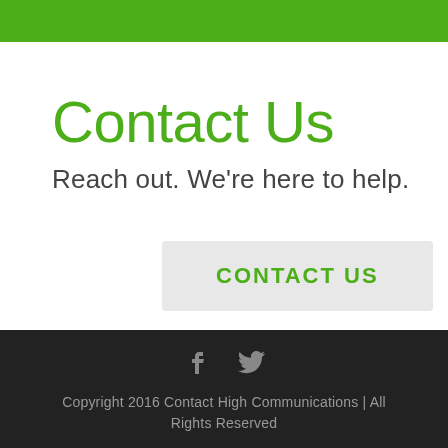[Figure (other): Green horizontal bar at the top of the page]
Contact Us
Reach out. We're here to help.
CONTACT US
Copyright 2016 Contact High Communications | All Rights Reserved